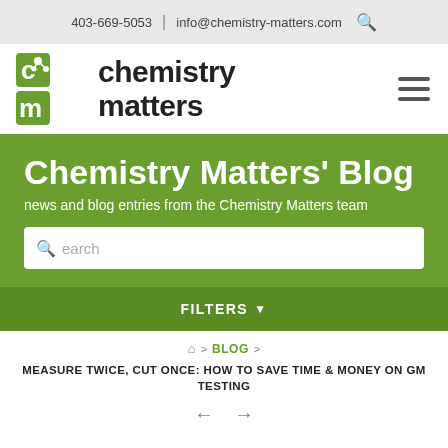403-669-5053 | info@chemistry-matters.com
[Figure (logo): Chemistry Matters logo with green cm icon and bold chemistry matters text]
Chemistry Matters' Blog
news and blog entries from the Chemistry Matters team
FILTERS
BLOG
MEASURE TWICE, CUT ONCE: HOW TO SAVE TIME & MONEY ON GM TESTING